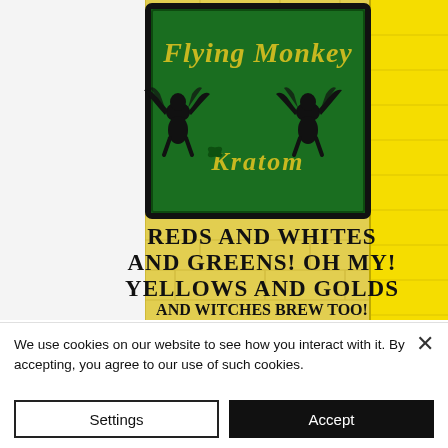[Figure (photo): Flying Monkey Kratom product sign on yellow brick wall. Green sign with 'Flying Monkey Kratom' text and flying monkey silhouettes. Yellow brick wall background with black text reading: REDS AND WHITES AND GREENS! OH MY! YELLOWS AND GOLDS AND WITCHES BREW TOO! LOW PRICES ~ LAB]
We use cookies on our website to see how you interact with it. By accepting, you agree to our use of such cookies.